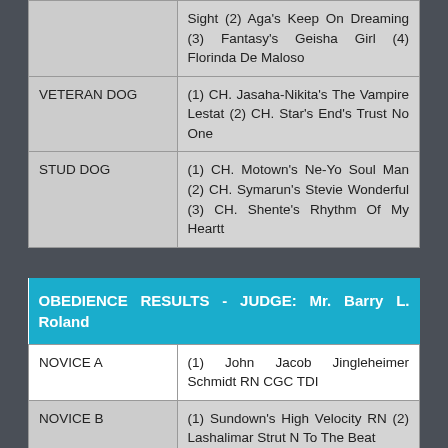| Category | Results |
| --- | --- |
|  | Sight (2) Aga's Keep On Dreaming (3) Fantasy's Geisha Girl (4) Florinda De Maloso |
| VETERAN DOG | (1) CH. Jasaha-Nikita's The Vampire Lestat (2) CH. Star's End's Trust No One |
| STUD DOG | (1) CH. Motown's Ne-Yo Soul Man (2) CH. Symarun's Stevie Wonderful (3) CH. Shente's Rhythm Of My Heartt |
OBEDIENCE RESULTS - JUDGE: Mr. Barry L. Roland
| Category | Results |
| --- | --- |
| NOVICE A | (1) John Jacob Jingleheimer Schmidt RN CGC TDI |
| NOVICE B | (1) Sundown's High Velocity RN (2) Lashalimar Strut N To The Beat |